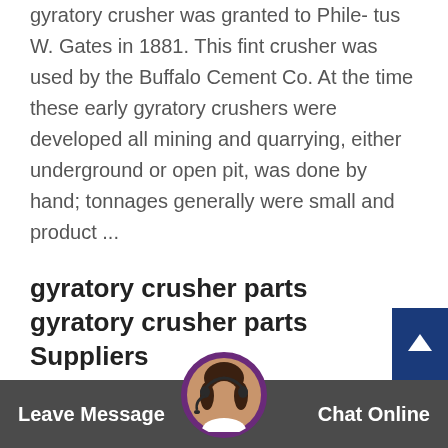gyratory crusher was granted to Phile- tus W. Gates in 1881. This fint crusher was used by the Buffalo Cement Co. At the time these early gyratory crushers were developed all mining and quarrying, either underground or open pit, was done by hand; tonnages generally were small and product ...
gyratory crusher parts gyratory crusher parts Suppliers
1,799 gyratory crusher parts products are offered for sale by suppliers on Alibaba.com, of which crusher accounts for 5%, mining machinery parts accounts for 3%, and machining accounts for 1%. A wide variety of gyratory crusher parts options are available to you, such as so... afl...